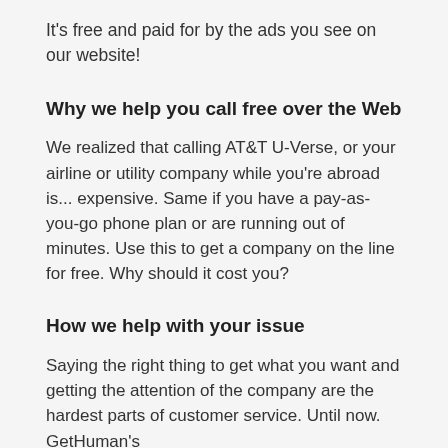It's free and paid for by the ads you see on our website!
Why we help you call free over the Web
We realized that calling AT&T U-Verse, or your airline or utility company while you're abroad is... expensive. Same if you have a pay-as-you-go phone plan or are running out of minutes. Use this to get a company on the line for free. Why should it cost you?
How we help with your issue
Saying the right thing to get what you want and getting the attention of the company are the hardest parts of customer service. Until now. GetHuman's